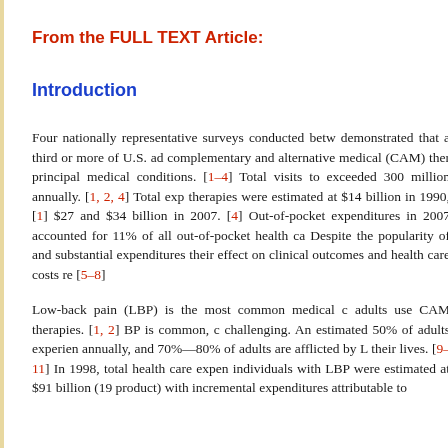From the FULL TEXT Article:
Introduction
Four nationally representative surveys conducted between demonstrated that a third or more of U.S. adults use complementary and alternative medical (CAM) therapies for principal medical conditions. [1–4] Total visits to CAM exceeded 300 million annually. [1, 2, 4] Total expenditures on therapies were estimated at $14 billion in 1990, [1] $27 billion, and $34 billion in 2007. [4] Out-of-pocket expenditures on CAM in 2007 accounted for 11% of all out-of-pocket health care costs. Despite the popularity of and substantial expenditures on CAM, their effect on clinical outcomes and health care costs remains [5–8]
Low-back pain (LBP) is the most common medical condition adults use CAM therapies. [1, 2] BP is common, costly, and challenging. An estimated 50% of adults experience LBP annually, and 70%—80% of adults are afflicted by LBP during their lives. [9–11] In 1998, total health care expenditures for individuals with LBP were estimated at $91 billion (1998 gross product) with incremental expenditures attributable to...